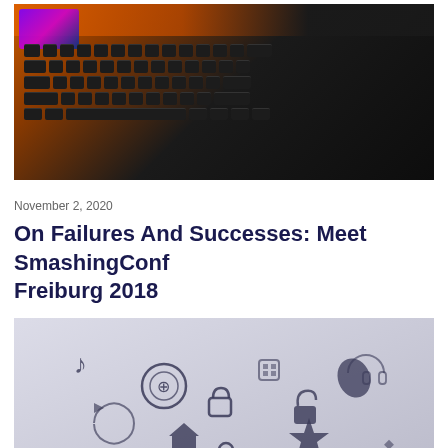[Figure (photo): Dark mechanical keyboard with orange/red backlighting and a glowing monitor screen in the background]
November 2, 2020
On Failures And Successes: Meet SmashingConf Freiburg 2018
[Figure (photo): Close-up photo of various app icons printed on paper viewed at an angle, including music note, shield, lock, microphone, magnifying glass and other icons]